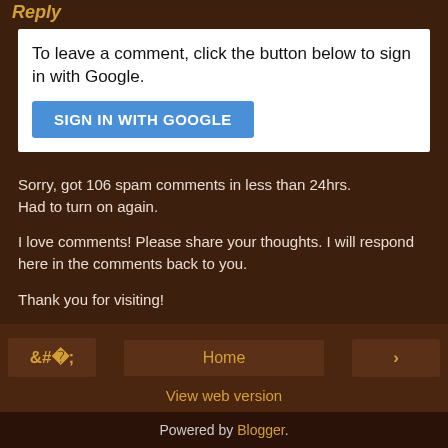Reply
[Figure (screenshot): Sign-in widget box with text 'To leave a comment, click the button below to sign in with Google.' and a blue button labeled 'SIGN IN WITH GOOGLE']
Sorry, got 106 spam comments in less than 24hrs. Had to turn on again.

I love comments! Please share your thoughts. I will respond here in the comments back to you.

Thank you for visiting!
Home | View web version | Powered by Blogger.